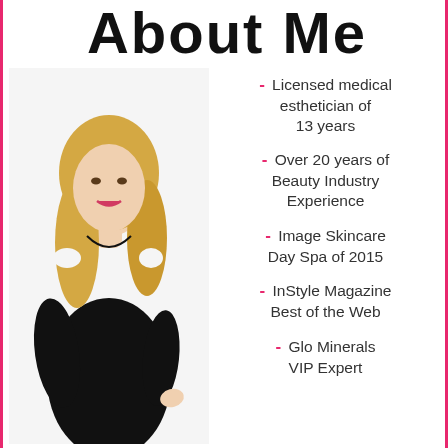About Me
[Figure (photo): Blonde woman in black sleeveless dress smiling, standing with hand on hip]
- Licensed medical esthetician of 13 years
- Over 20 years of Beauty Industry Experience
- Image Skincare Day Spa of 2015
- InStyle Magazine Best of the Web
- Glo Minerals VIP Expert